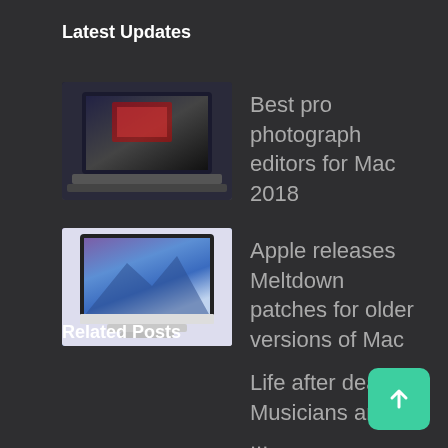Latest Updates
[Figure (photo): Thumbnail image of a laptop and Mac mini on a desk]
Best pro photograph editors for Mac 2018
[Figure (photo): Thumbnail image of an iMac on a desk]
Apple releases Meltdown patches for older versions of Mac
Related Posts
Life after death: Musicians are ...